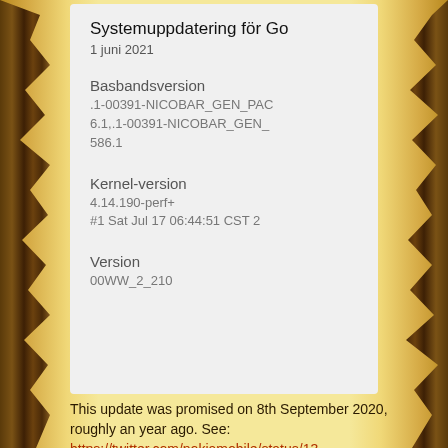[Figure (screenshot): Phone system update screenshot showing: Title 'Systemuppdatering för Go' dated '1 juni 2021', Basbandsversion '.1-00391-NICOBAR_GEN_PAC 6.1,.1-00391-NICOBAR_GEN_ 586.1', Kernel-version '4.14.190-perf+ #1 Sat Jul 17 06:44:51 CST 2', Version '00WW_2_210']
This update was promised on 8th September 2020, roughly an year ago. See: https://twitter.com/nokiamobile/status/13
As promised, there it is. And for iPhone user like me, taking a screenshot and sending it into processing via Gmail is